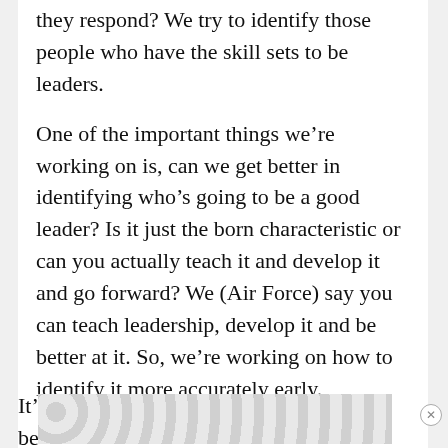they respond? We try to identify those people who have the skill sets to be leaders.
One of the important things we're working on is, can we get better in identifying who's going to be a good leader? Is it just the born characteristic or can you actually teach it and develop it and go forward? We (Air Force) say you can teach leadership, develop it and be better at it. So, we're working on how to identify it more accurately early.
It'
be